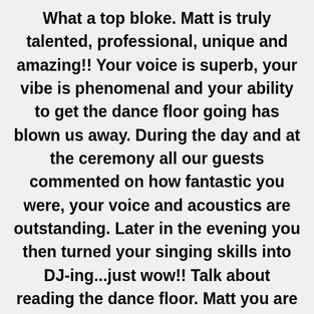What a top bloke. Matt is truly talented, professional, unique and amazing!! Your voice is superb, your vibe is phenomenal and your ability to get the dance floor going has blown us away. During the day and at the ceremony all our guests commented on how fantastic you were, your voice and acoustics are outstanding. Later in the evening you then turned your singing skills into DJ-ing...just wow!! Talk about reading the dance floor. Matt you are nothing short of spectacular! Absolutely fantastic and so grateful you were a massive part of our day. From the